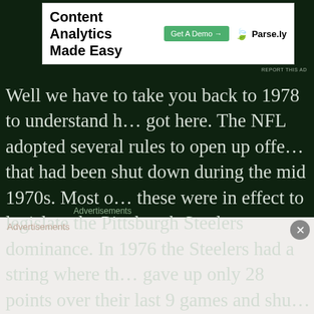[Figure (screenshot): Advertisement banner for Parse.ly - Content Analytics Made Easy with Get A Demo button]
Well we have to take you back to 1978 to understand how we got here. The NFL adopted several rules to open up offense that had been shut down during the mid 1970s. Most of these were in effect to legislate the Pittsburgh Steelers dominance. In 1976 the Steelers had a string where they gave up only 28 points over their last 9 games and shut out of their last 8 opponents. This was followed up in 1977 by the Denver Broncos, on their way to Super Bowl XII, only gave up 148 points and 18 touchdowns. So something had to be done.
Advertisements